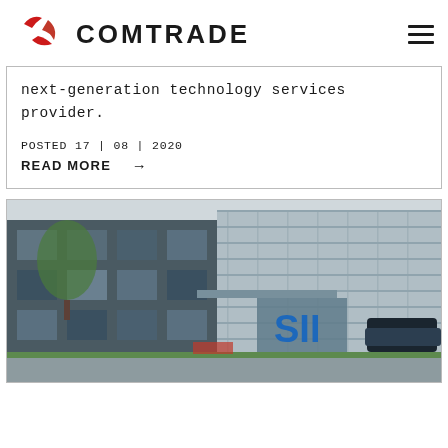COMTRADE
next-generation technology services provider.
POSTED 17 | 08 | 2020
READ MORE →
[Figure (photo): Exterior photo of a modern office building with glass facade and 'SII' logo sign at the entrance, surrounded by parked cars and greenery.]